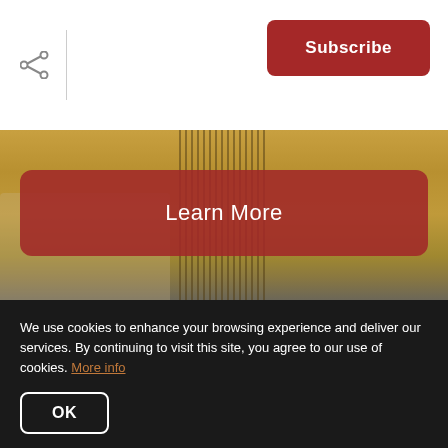Subscribe
[Figure (photo): Photo of a building staircase with yellow walls and vertical metal railings, with a red 'Learn More' button overlay]
[Figure (photo): Photo of a person in a red shirt working, with text overlay 'Find out what your home is worth.']
We use cookies to enhance your browsing experience and deliver our services. By continuing to visit this site, you agree to our use of cookies. More info
OK